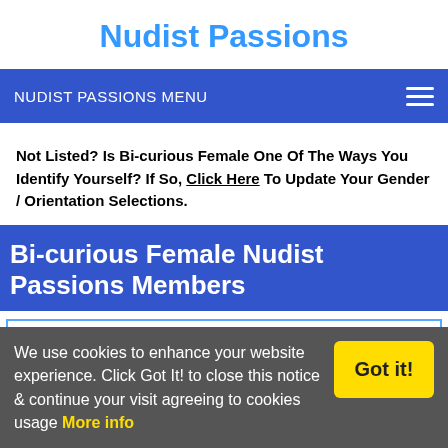Nudist Passions
NUDIST PASSIONS MENU
Not Listed? Is Bi-curious Female One Of The Ways You Identify Yourself? If So, Click Here To Update Your Gender / Orientation Selections.
Bi-curious Female Nudist Passions Members
[Figure (illustration): User avatar illustration showing a cartoon female face with curly brown hair]
libbyrayner
Carmarthen, United Kingdom
We use cookies to enhance your website experience. Click Got It! to close this notice & continue your visit agreeing to cookies usage More info